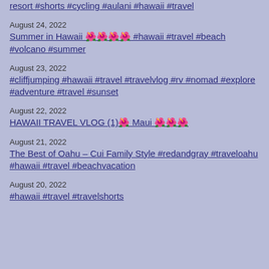resort #shorts #cycling #aulani #hawaii #travel
August 24, 2022
Summer in Hawaii 🌺🌺🌺🌺 #hawaii #travel #beach #volcano #summer
August 23, 2022
#cliffjumping #hawaii #travel #travelvlog #rv #nomad #explore #adventure #travel #sunset
August 22, 2022
HAWAII TRAVEL VLOG (1)🌺 Maui 🌺🌺🌺
August 21, 2022
The Best of Oahu – Cui Family Style #redandgray #traveloahu #hawaii #travel #beachvacation
August 20, 2022
#hawaii #travel #travelshorts